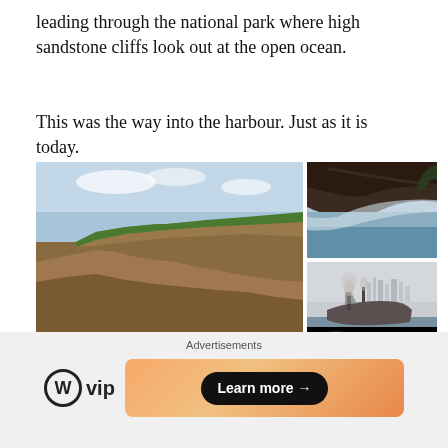leading through the national park where high sandstone cliffs look out at the open ocean.
This was the way into the harbour. Just as it is today.
[Figure (photo): Three photos: large left photo of sandstone coastal cliffs with ocean waves crashing below; top right photo of sandstone rock overhang looking out to ocean; bottom right photo of a ship entering harbour with city skyline in misty background.]
Yet just how did these men in a flimsy sailing ship make it to the other side of the world.
Advertisements
[Figure (logo): WordPress VIP logo with Learn more button and orange gradient ad banner]